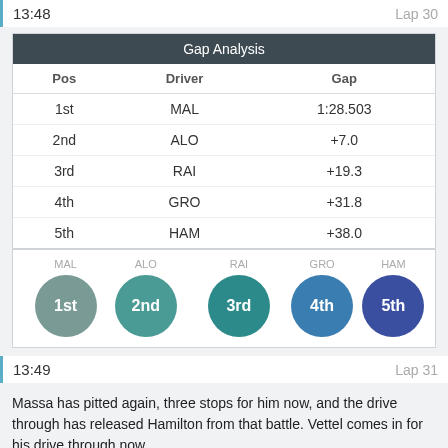13:48  Lap 30
| Gap Analysis |  |  |
| --- | --- | --- |
| Pos | Driver | Gap |
| 1st | MAL | 1:28.503 |
| 2nd | ALO | +7.0 |
| 3rd | RAI | +19.3 |
| 4th | GRO | +31.8 |
| 5th | HAM | +38.0 |
[Figure (infographic): Five colored circles showing race positions: MAL 1st (grey-green), ALO 2nd (teal-green), RAI 3rd (teal), GRO 4th (blue), HAM 5th (indigo)]
13:49  Lap 31
Massa has pitted again, three stops for him now, and the drive through has released Hamilton from that battle. Vettel comes in for his drive through now.
13:50  Lap 32